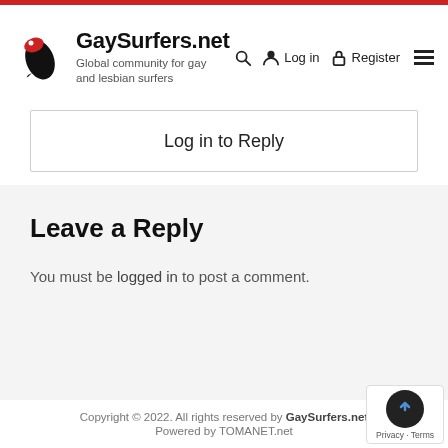GaySurfers.net — Global community for gay and lesbian surfers
Log in to Reply
Leave a Reply
You must be logged in to post a comment.
Copyright © 2022. All rights reserved by GaySurfers.net | Powered by TOMANET.net